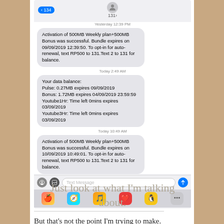[Figure (screenshot): iOS Messages app screenshot showing SMS conversations with activation confirmations for 500MB Weekly plan+500MB Bonus bundles and data balance details, with a message toolbar and app icon row at the bottom.]
Just look at what I'm talking about.
But that's not the point I'm trying to make.